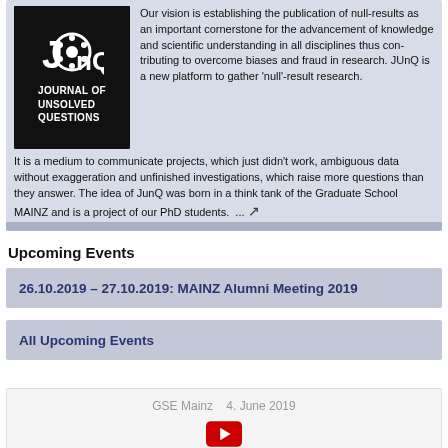[Figure (logo): JUnQ - Journal of Unsolved Questions logo, white text on black background with a telephone dial icon]
Our vision is establishing the publication of null-results as an important cornerstone for the advancement of knowledge and scientific understanding in all disciplines thus contributing to overcome biases and fraud in research. JUnQ is a new platform to gather 'null'-result research. It is a medium to communicate projects, which just didn't work, ambiguous data without exaggeration and unfinished investigations, which raise more questions than they answer. The idea of JunQ was born in a think tank of the Graduate School MAINZ and is a project of our PhD students. ...
Upcoming Events
26.10.2019 – 27.10.2019: MAINZ Alumni Meeting 2019
All Upcoming Events
GSE Mainz   4. June 2019